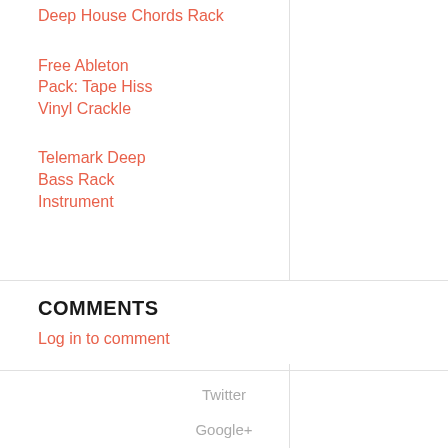Deep House Chords Rack
Free Ableton Pack: Tape Hiss Vinyl Crackle
Telemark Deep Bass Rack Instrument
COMMENTS
Log in to comment
Twitter
Google+